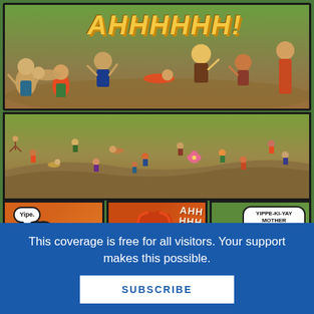[Figure (illustration): Comic book page showing three panels: top wide panel with characters screaming 'AHHHHHH!' in a forest/outdoor setting, middle panel showing scattered characters on a hillside, and bottom row of three panels: left panel (orange) showing character saying 'Yipe.', middle panel (orange-red) showing character screaming 'AHHHH', right panel (green) showing characters with speech bubble 'YIPPE-KI-YAY MOTHER NECESSITY!']
This coverage is free for all visitors. Your support makes this possible.
SUBSCRIBE